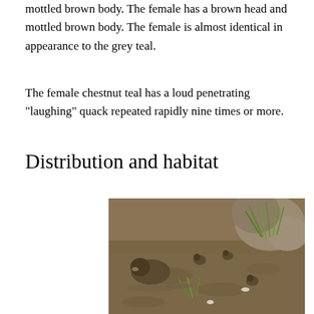mottled brown body. The female has a brown head and mottled brown body. The female is almost identical in appearance to the grey teal.
The female chestnut teal has a loud penetrating "laughing" quack repeated rapidly nine times or more.
Distribution and habitat
[Figure (photo): A duck with ducklings on muddy water near rocks with green grass, showing chestnut teal in a natural habitat setting.]